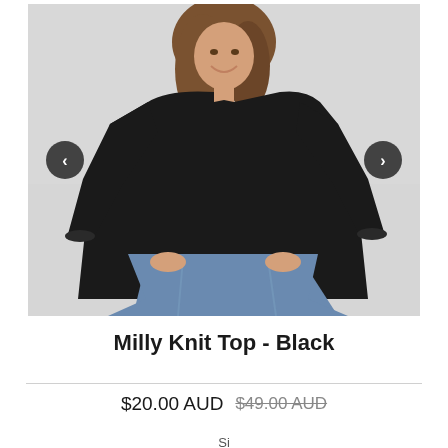[Figure (photo): A smiling woman with brown wavy hair wearing a black long-sleeve knit top and light blue jeans, posed against a light gray background. Navigation arrows (left and right) are overlaid on the sides of the image.]
Milly Knit Top - Black
$20.00 AUD $49.00 AUD
Size